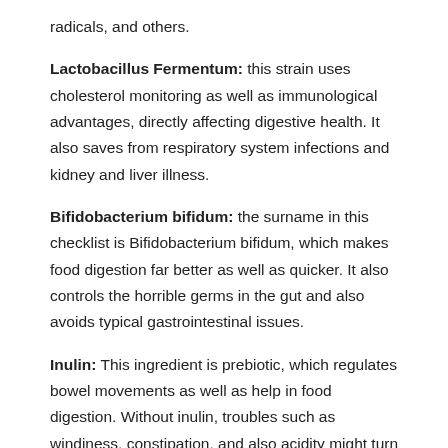radicals, and others.
Lactobacillus Fermentum: this strain uses cholesterol monitoring as well as immunological advantages, directly affecting digestive health. It also saves from respiratory system infections and kidney and liver illness.
Bifidobacterium bifidum: the surname in this checklist is Bifidobacterium bifidum, which makes food digestion far better as well as quicker. It also controls the horrible germs in the gut and also avoids typical gastrointestinal issues.
Inulin: This ingredient is prebiotic, which regulates bowel movements as well as help in food digestion. Without inulin, troubles such as windiness, constipation, and also acidity might turn up, making digestion awkward. In addition to that, inulin aids in the growth as well as spread of probiotic bacteria and also plays a role alongside them in keeping intestine flora.